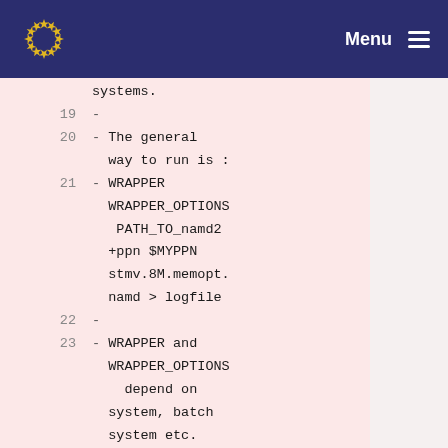Menu
systems.
19  -
20  - The general way to run is :
21  - WRAPPER WRAPPER_OPTIONS PATH_TO_namd2 +ppn $MYPPN stmv.8M.memopt.namd > logfile
22  -
23  - WRAPPER and WRAPPER_OPTIONS depend on system, batch system etc.
24  - Few common pairs are :
25  -
26  - CRAY :